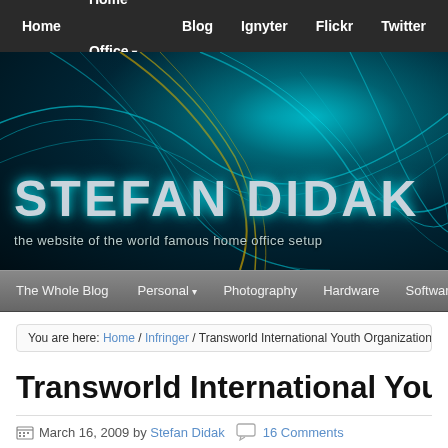Home | Home Office | Blog | Ignyter | Flickr | Twitter
[Figure (illustration): Stefan Didak website hero banner with teal/cyan light streak artwork on dark background, large site title 'STEFAN DIDAK' in metallic futuristic font, subtitle 'the website of the world famous home office setup']
The Whole Blog | Personal | Photography | Hardware | Software
You are here: Home / Infringer / Transworld International Youth Organization Scam?
Transworld International Youth Orga
March 16, 2009 by Stefan Didak   16 Comments